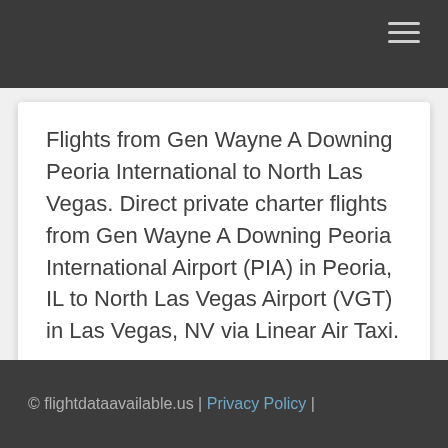Flights from Gen Wayne A Downing Peoria International to North Las Vegas. Direct private charter flights from Gen Wayne A Downing Peoria International Airport (PIA) in Peoria, IL to North Las Vegas Airport (VGT) in Las Vegas, NV via Linear Air Taxi.
© flightdataavailable.us | Privacy Policy |